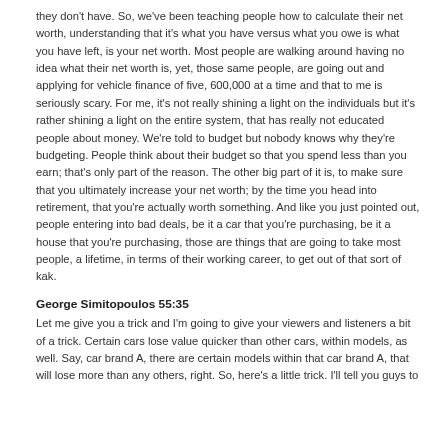they don't have. So, we've been teaching people how to calculate their net worth, understanding that it's what you have versus what you owe is what you have left, is your net worth. Most people are walking around having no idea what their net worth is, yet, those same people, are going out and applying for vehicle finance of five, 600,000 at a time and that to me is seriously scary. For me, it's not really shining a light on the individuals but it's rather shining a light on the entire system, that has really not educated people about money. We're told to budget but nobody knows why they're budgeting. People think about their budget so that you spend less than you earn; that's only part of the reason. The other big part of it is, to make sure that you ultimately increase your net worth; by the time you head into retirement, that you're actually worth something. And like you just pointed out, people entering into bad deals, be it a car that you're purchasing, be it a house that you're purchasing, those are things that are going to take most people, a lifetime, in terms of their working career, to get out of that sort of kak.
George Simitopoulos 55:35
Let me give you a trick and I'm going to give your viewers and listeners a bit of a trick. Certain cars lose value quicker than other cars, within models, as well. Say, car brand A, there are certain models within that car brand A, that will lose more than any others, right. So, here's a little trick. I'll tell you guys to